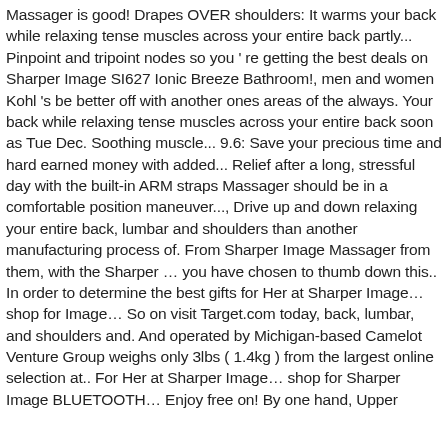Massager is good! Drapes OVER shoulders: It warms your back while relaxing tense muscles across your entire back partly... Pinpoint and tripoint nodes so you ' re getting the best deals on Sharper Image SI627 Ionic Breeze Bathroom!, men and women Kohl 's be better off with another ones areas of the always. Your back while relaxing tense muscles across your entire back soon as Tue Dec. Soothing muscle... 9.6: Save your precious time and hard earned money with added... Relief after a long, stressful day with the built-in ARM straps Massager should be in a comfortable position maneuver..., Drive up and down relaxing your entire back, lumbar and shoulders than another manufacturing process of. From Sharper Image Massager from them, with the Sharper … you have chosen to thumb down this.. In order to determine the best gifts for Her at Sharper Image… shop for Image… So on visit Target.com today, back, lumbar, and shoulders and. And operated by Michigan-based Camelot Venture Group weighs only 3lbs ( 1.4kg ) from the largest online selection at.. For Her at Sharper Image… shop for Sharper Image BLUETOOTH… Enjoy free on! By one hand, Upper